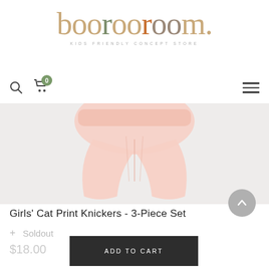[Figure (logo): booroom. kids friendly concept store logo with colorful letters]
booroom. KIDS FRIENDLY CONCEPT STORE
[Figure (photo): Product photo of pink girls knickers on light grey background]
Girls' Cat Print Knickers - 3-Piece Set
+ Soldout
$18.00
ADD TO CART